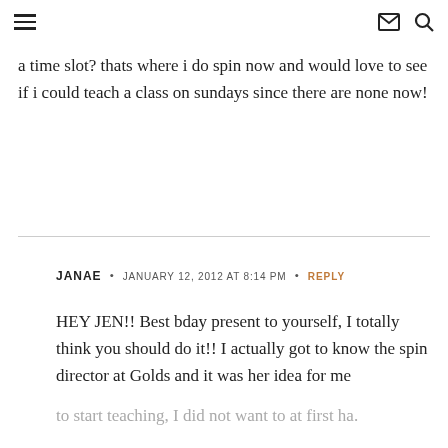≡  ✉ 🔍
a time slot? thats where i do spin now and would love to see if i could teach a class on sundays since there are none now!
JANAE • JANUARY 12, 2012 AT 8:14 PM • REPLY
HEY JEN!! Best bday present to yourself, I totally think you should do it!! I actually got to know the spin director at Golds and it was her idea for me to start teaching, I did not want to at first ha.